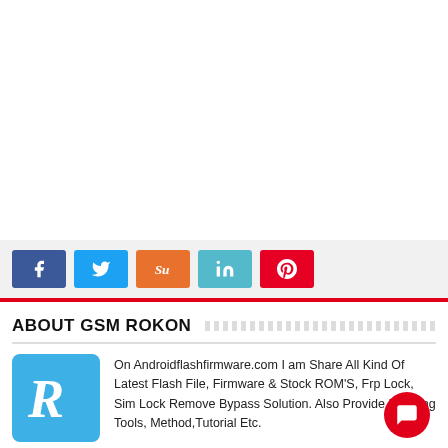[Figure (other): White advertisement/empty space area at top of page]
[Figure (infographic): Social media share buttons: Facebook (blue), Twitter (light blue), StumbleUpon (orange), LinkedIn (teal), Pinterest (red)]
ABOUT GSM ROKON
[Figure (logo): GSM Rokon logo: blue rounded square with white cursive letter R]
On Androidflashfirmware.com I am Share All Kind Of Latest Flash File, Firmware & Stock ROM'S, Frp Lock, Sim Lock Remove Bypass Solution. Also Provide Flashing Tools, Method,Tutorial Etc.